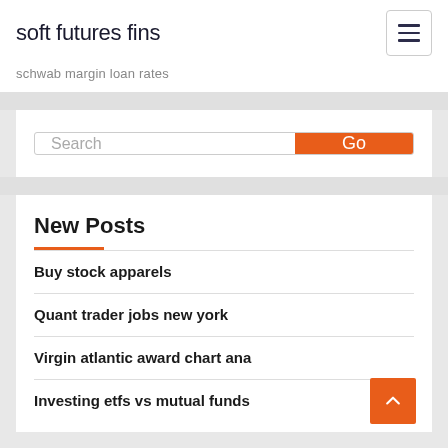soft futures fins
schwab margin loan rates
Search
New Posts
Buy stock apparels
Quant trader jobs new york
Virgin atlantic award chart ana
Investing etfs vs mutual funds